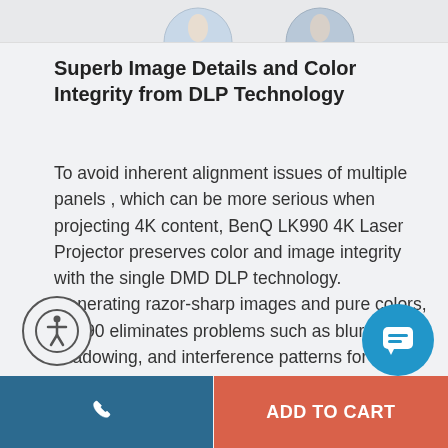[Figure (photo): Partial product images visible at top of page — two circular-cropped projector/product images on a light gray background strip]
Superb Image Details and Color Integrity from DLP Technology
To avoid inherent alignment issues of multiple panels , which can be more serious when projecting 4K content, BenQ LK990 4K Laser Projector preserves color and image integrity with the single DMD DLP technology. Generating razor-sharp images and pure colors, LK990 eliminates problems such as blurriness, shadowing, and interference patterns for immaculate clarity.